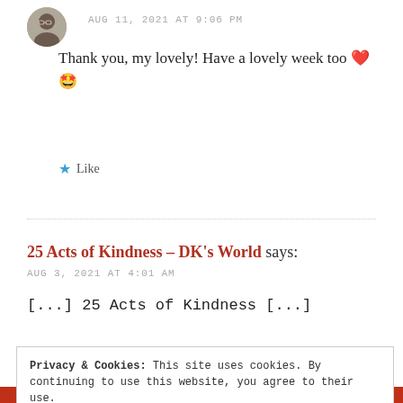AUG 11, 2021 AT 9:06 PM
Thank you, my lovely! Have a lovely week too ❤️🤩
Like
25 Acts of Kindness – DK's World says:
AUG 3, 2021 AT 4:01 AM
[...] 25 Acts of Kindness [...]
Privacy & Cookies: This site uses cookies. By continuing to use this website, you agree to their use.
To find out more, including how to control cookies, see here: Cookie Policy
Close and accept